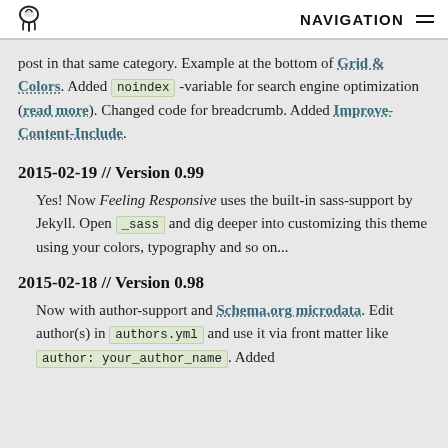NAVIGATION
post in that same category. Example at the bottom of Grid & Colors. Added noindex -variable for search engine optimization (read more). Changed code for breadcrumb. Added Improve-Content-Include.
2015-02-19 // Version 0.99
Yes! Now Feeling Responsive uses the built-in sass-support by Jekyll. Open _sass and dig deeper into customizing this theme using your colors, typography and so on...
2015-02-18 // Version 0.98
Now with author-support and Schema.org microdata. Edit author(s) in authors.yml and use it via front matter like author: your_author_name . Added